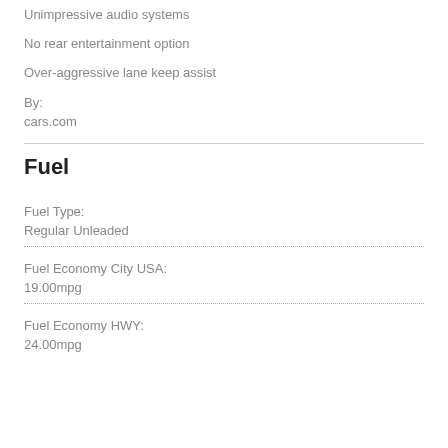Unimpressive audio systems
No rear entertainment option
Over-aggressive lane keep assist
By:
cars.com
Fuel
Fuel Type:
Regular Unleaded
Fuel Economy City USA:
19.00mpg
Fuel Economy HWY:
24.00mpg